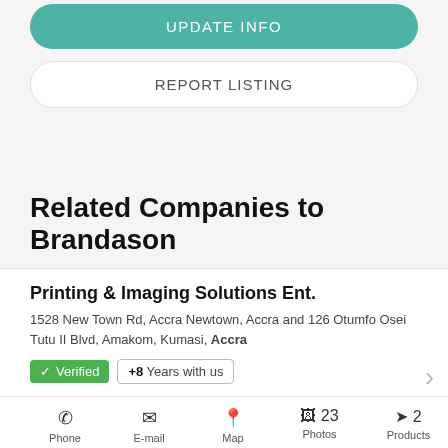UPDATE INFO
REPORT LISTING
Related Companies to Brandason
Printing & Imaging Solutions Ent.
1528 New Town Rd, Accra Newtown, Accra and 126 Otumfo Osei Tutu II Blvd, Amakom, Kumasi, Accra
Verified +8 Years with us
Phone E-mail Map 23 Photos 2 Products